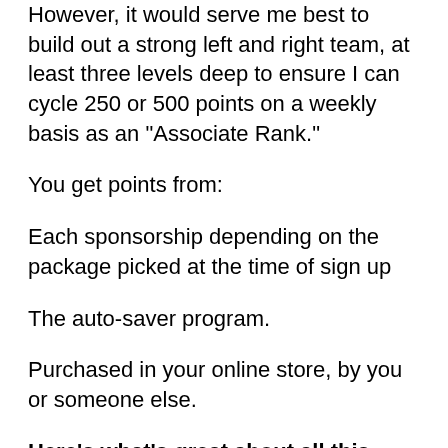However, it would serve me best to build out a strong left and right team, at least three levels deep to ensure I can cycle 250 or 500 points on a weekly basis as an "Associate Rank."
You get points from:
Each sponsorship depending on the package picked at the time of sign up
The auto-saver program.
Purchased in your online store, by you or someone else.
Here's what's great about all this...
It may not be your immediate upline, but one